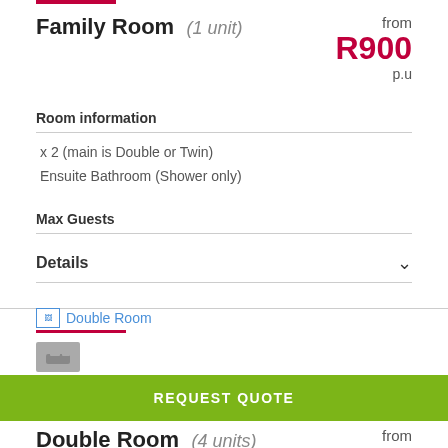Family Room (1 unit) from R900 p.u
Room information
x 2 (main is Double or Twin)
Ensuite Bathroom (Shower only)
Max Guests
Details
[Figure (screenshot): Double Room image placeholder with broken image icon and blue link text]
REQUEST QUOTE
Double Room (4 units) from R700